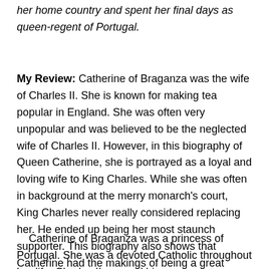her home country and spent her final days as queen-regent of Portugal.
My Review: Catherine of Braganza was the wife of Charles II. She is known for making tea popular in England. She was often very unpopular and was believed to be the neglected wife of Charles II. However, in this biography of Queen Catherine, she is portrayed as a loyal and loving wife to King Charles. While she was often in background at the merry monarch's court, King Charles never really considered replacing her. He ended up being her most staunch supporter. This biography also shows that Catherine had the makings of being a great queen when she became regent for her nephew in Portugal.
Catherine of Braganza was a princess of Portugal. She was a devoted Catholic throughout her life. Charles II secured his